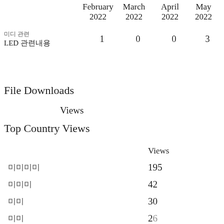|  | February 2022 | March 2022 | April 2022 | May 2022 |
| --- | --- | --- | --- | --- |
| 미디 관련
LED 관련내용 | 1 | 0 | 0 | 3 |
File Downloads
Views
Top Country Views
Views
|  | Views |
| --- | --- |
| 미미미미 | 195 |
| 미미미 | 42 |
| 미미 | 30 |
| 미미 | 26 |